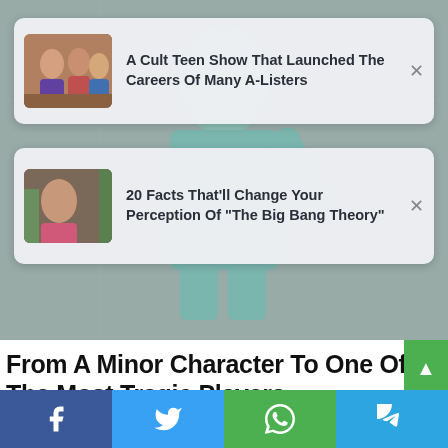[Figure (photo): Card 1: thumbnail image of teen show cast members sitting together]
A Cult Teen Show That Launched The Careers Of Many A-Listers
[Figure (photo): Card 2: thumbnail image of woman from The Big Bang Theory looking concerned]
20 Facts That'll Change Your Perception Of "The Big Bang Theory"
[Figure (photo): Background photo of person wearing mint/teal outfit standing in front of concrete wall]
From A Minor Character To One Of The Most Tragic Players
BRAINBERRIES